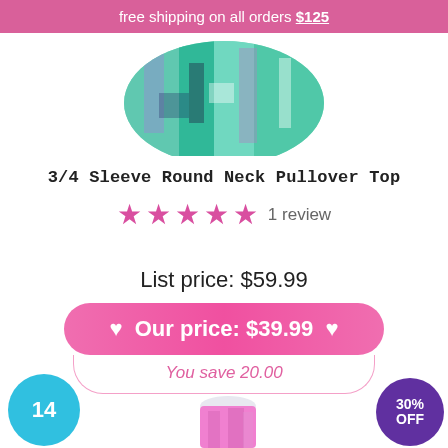free shipping on all orders $125
[Figure (photo): Product photo of a 3/4 sleeve pullover top with colorful abstract green, teal, purple, and black print pattern]
3/4 Sleeve Round Neck Pullover Top
★★★★★ 1 review
List price: $59.99
♥ Our price: $39.99 ♥
You save 20.00
[Figure (photo): Bottom section showing a teal circle badge with number 14, a partial product photo of a pink floral pullover top, and a purple circle badge showing 30% OFF]